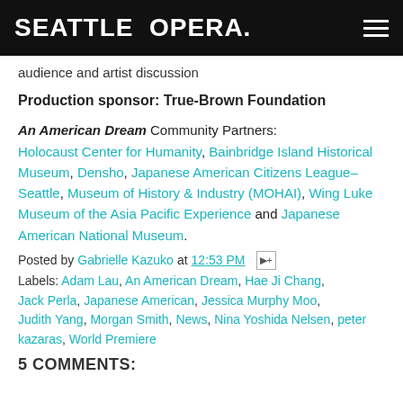SEATTLE OPERA.
audience and artist discussion
Production sponsor: True-Brown Foundation
An American Dream Community Partners: Holocaust Center for Humanity, Bainbridge Island Historical Museum, Densho, Japanese American Citizens League–Seattle, Museum of History & Industry (MOHAI), Wing Luke Museum of the Asia Pacific Experience and Japanese American National Museum.
Posted by Gabrielle Kazuko at 12:53 PM
Labels: Adam Lau, An American Dream, Hae Ji Chang, Jack Perla, Japanese American, Jessica Murphy Moo, Judith Yang, Morgan Smith, News, Nina Yoshida Nelsen, peter kazaras, World Premiere
5 COMMENTS: